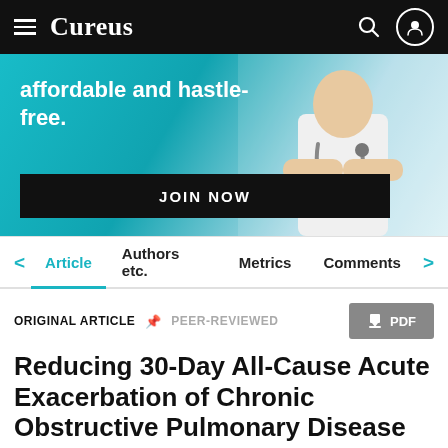Cureus
[Figure (photo): Advertisement banner showing text 'affordable and hastle-free.' with a JOIN NOW button and a doctor in white coat with stethoscope on teal/blue background]
Article | Authors etc. | Metrics | Comments
ORIGINAL ARTICLE  PEER-REVIEWED  PDF
Reducing 30-Day All-Cause Acute Exacerbation of Chronic Obstructive Pulmonary Disease Readmission Rate With a Multidisciplinary Quality